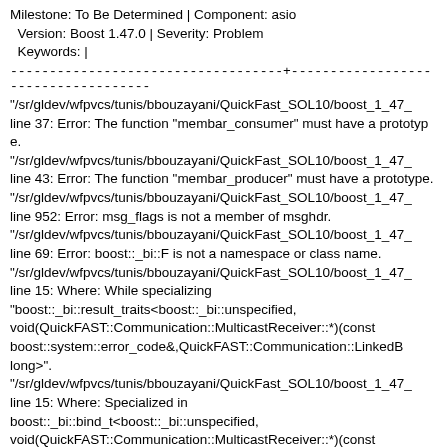Milestone: To Be Determined | Component: asio
  Version: Boost 1.47.0 | Severity: Problem
  Keywords: |
-----------------------------------+------------------------------------
"/sr/gldev/wfpvcs/tunis/bbouzayani/QuickFast_SOL10/boost_1_47_
line 37: Error: The function "membar_consumer" must have a prototype.
"/sr/gldev/wfpvcs/tunis/bbouzayani/QuickFast_SOL10/boost_1_47_
line 43: Error: The function "membar_producer" must have a prototype.
"/sr/gldev/wfpvcs/tunis/bbouzayani/QuickFast_SOL10/boost_1_47_
line 952: Error: msg_flags is not a member of msghdr.
"/sr/gldev/wfpvcs/tunis/bbouzayani/QuickFast_SOL10/boost_1_47_
line 69: Error: boost::_bi::F is not a namespace or class name.
"/sr/gldev/wfpvcs/tunis/bbouzayani/QuickFast_SOL10/boost_1_47_
line 15: Where: While specializing
"boost::_bi::result_traits<boost::_bi::unspecified,
void(QuickFAST::Communication::MulticastReceiver::*)(const
boost::system::error_code&,QuickFAST::Communication::LinkedB
long)>".
"/sr/gldev/wfpvcs/tunis/bbouzayani/QuickFast_SOL10/boost_1_47_
line 15: Where: Specialized in
boost::_bi::bind_t<boost::_bi::unspecified,
void(QuickFAST::Communication::MulticastReceiver::*)(const
boost::system::error_code&,QuickFAST::Communication::LinkedB